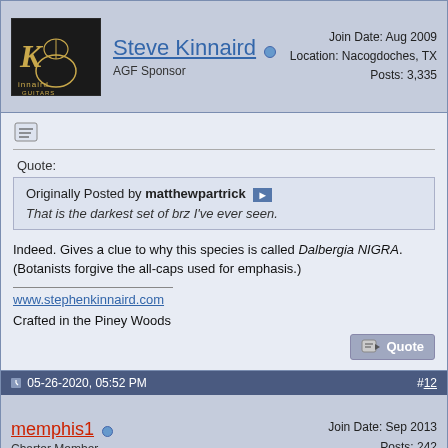Steve Kinnaird — AGF Sponsor | Join Date: Aug 2009 | Location: Nacogdoches, TX | Posts: 3,335
[Figure (logo): Kinnaird Guitars logo — dark background with gold guitar silhouette and stylized K]
Originally Posted by matthewpartrick
That is the darkest set of brz I've ever seen.
Indeed. Gives a clue to why this species is called Dalbergia NIGRA. (Botanists forgive the all-caps used for emphasis.)
www.stephenkinnaird.com
Crafted in the Piney Woods
05-26-2020, 05:52 PM  #12
memphis1 — Charter Member | Join Date: Sep 2013 | Posts: 242
Wow! Great looking woods. This one will be fun to watch!